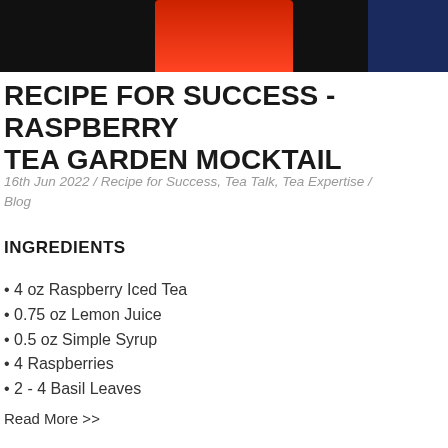[Figure (photo): Top portion of a drink photo — red beverage glass centered on black/dark blue background]
RECIPE FOR SUCCESS - RASPBERRY TEA GARDEN MOCKTAIL
16th Jun 2022 / Recipe for Success, Tea Talk, Tea Expertise / Blog
INGREDIENTS
4 oz Raspberry Iced Tea
0.75 oz Lemon Juice
0.5 oz Simple Syrup
4 Raspberries
2 - 4 Basil Leaves
Read More >>